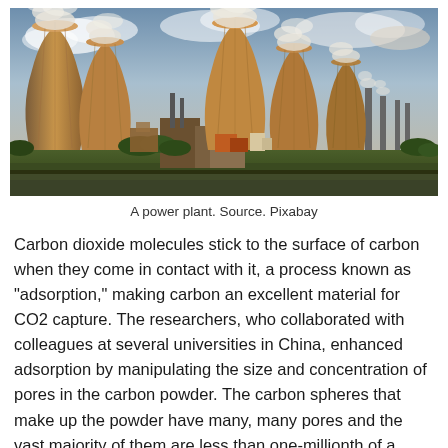[Figure (photo): Aerial view of an industrial power plant with large cooling towers emitting steam, photographed during golden hour. Multiple hyperbolic cooling towers and tall chimneys are visible against a partly cloudy sky.]
A power plant. Source. Pixabay
Carbon dioxide molecules stick to the surface of carbon when they come in contact with it, a process known as “adsorption,” making carbon an excellent material for CO2 capture. The researchers, who collaborated with colleagues at several universities in China, enhanced adsorption by manipulating the size and concentration of pores in the carbon powder. The carbon spheres that make up the powder have many, many pores and the vast majority of them are less than one-millionth of a meter in diameter.